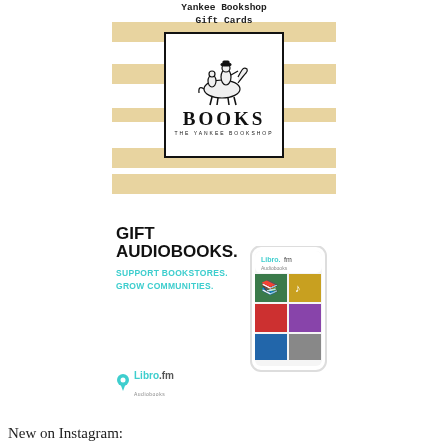[Figure (illustration): Yankee Bookshop Gift Cards advertisement showing gold stripes background with a bordered logo box containing a horseback rider illustration, BOOKS text, and THE YANKEE BOOKSHOP subtitle]
[Figure (illustration): Libro.fm audiobooks advertisement with text 'GIFT AUDIOBOOKS. SUPPORT BOOKSTORES. GROW COMMUNITIES.' alongside a phone mockup showing the Libro.fm app with book covers, a teal lotus flower decoration, and the Libro.fm Audiobooks logo]
New on Instagram: